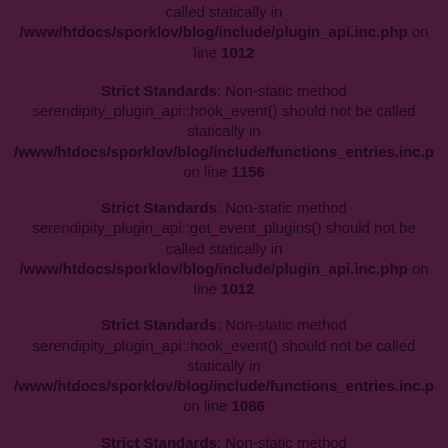called statically in /www/htdocs/sporklov/blog/include/plugin_api.inc.php on line 1012
Strict Standards: Non-static method serendipity_plugin_api::hook_event() should not be called statically in /www/htdocs/sporklov/blog/include/functions_entries.inc.p on line 1156
Strict Standards: Non-static method serendipity_plugin_api::get_event_plugins() should not be called statically in /www/htdocs/sporklov/blog/include/plugin_api.inc.php on line 1012
Strict Standards: Non-static method serendipity_plugin_api::hook_event() should not be called statically in /www/htdocs/sporklov/blog/include/functions_entries.inc.p on line 1086
Strict Standards: Non-static method serendipity_plugin_api::get_event_plugins() should not be called statically in